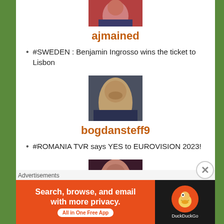[Figure (photo): Profile photo of ajmained (partially cropped at top)]
ajmained
#SWEDEN : Benjamin Ingrosso wins the ticket to Lisbon
[Figure (photo): Profile photo of bogdansteff9]
bogdansteff9
#ROMANIA TVR says YES to EUROVISION 2023!
[Figure (photo): Profile photo of elishbulgodley]
elishbulgodley
[Figure (screenshot): DuckDuckGo advertisement banner: Search, browse, and email with more privacy. All in One Free App]